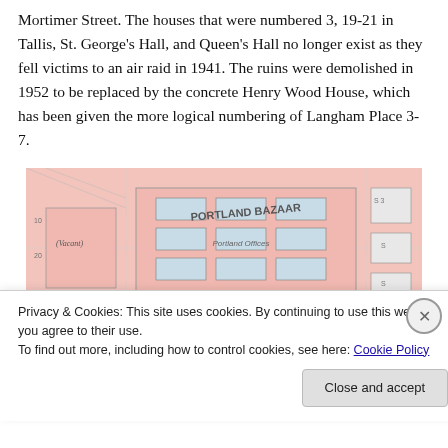Mortimer Street. The houses that were numbered 3, 19-21 in Tallis, St. George's Hall, and Queen's Hall no longer exist as they fell victims to an air raid in 1941. The ruins were demolished in 1952 to be replaced by the concrete Henry Wood House, which has been given the more logical numbering of Langham Place 3-7.
[Figure (map): Historical map showing Portland Bazaar area, with pink-colored building footprints, street labels including George's, and annotations such as (Vacant) and Portland Offices.]
Privacy & Cookies: This site uses cookies. By continuing to use this website, you agree to their use.
To find out more, including how to control cookies, see here: Cookie Policy
Close and accept